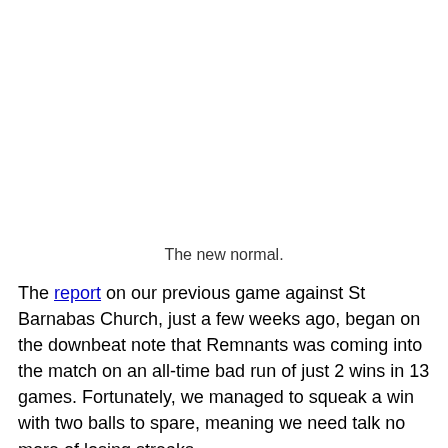The new normal.
The report on our previous game against St Barnabas Church, just a few weeks ago, began on the downbeat note that Remnants was coming into the match on an all-time bad run of just 2 wins in 13 games. Fortunately, we managed to squeak a win with two balls to spare, meaning we need talk no more of losing streaks . . .
. . . except we promptly made an abject return to slumpland - we've lost five of the six games we've played since. So we came into this evening's game on an even longer all-time